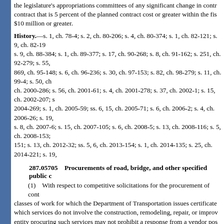the legislature's appropriations committees of any significant change in contract that is 5 percent of the planned contract cost or greater within the fiscal year if the total change in contract value is $10 million or greater.
History.—s. 1, ch. 78-4; s. 2, ch. 80-206; s. 4, ch. 80-374; s. 1, ch. 82-121; s. 9, ch. 82-19... s. 9, ch. 88-384; s. 1, ch. 89-377; s. 17, ch. 90-268; s. 8, ch. 91-162; s. 251, ch. 92-279; s. 55,... 869, ch. 95-148; s. 6, ch. 96-236; s. 30, ch. 97-153; s. 82, ch. 98-279; s. 11, ch. 99-4; s. 50, ch... ch. 2000-286; s. 56, ch. 2001-61; s. 4, ch. 2001-278; s. 37, ch. 2002-1; s. 15, ch. 2002-207; s... 2004-269; s. 1, ch. 2005-59; ss. 6, 15, ch. 2005-71; s. 6, ch. 2006-2; s. 4, ch. 2006-26; s. 19,... s. 8, ch. 2007-6; s. 15, ch. 2007-105; s. 6, ch. 2008-5; s. 13, ch. 2008-116; s. 5, ch. 2008-153;... 151; s. 13, ch. 2012-32; ss. 5, 6, ch. 2013-154; s. 1, ch. 2014-135; s. 25, ch. 2014-221; s. 19,
287.05705 Procurements of road, bridge, and other specified public works contracts.—
(1) With respect to competitive solicitations for the procurement of contracts in the classes of work for which the Department of Transportation issues certificates and for which services do not involve the construction, remodeling, repair, or improvement, the entity procuring such services may not prohibit a response from a vendor possessing a license under s. 337.14 or license under chapter 489 corresponding to the contractual services.
(2) This section applies to all competitive solicitations issued by a governmental entity.
History.—s. 2, ch. 2021-188.
287.0571 Business case to outsource; applicability.—
(1) It is the intent of the Legislature that each state agency focus on its core mission and efficiently by leveraging resources and contracting with private sector vendors to effectively and efficiently provide services and reduce the cost of government.